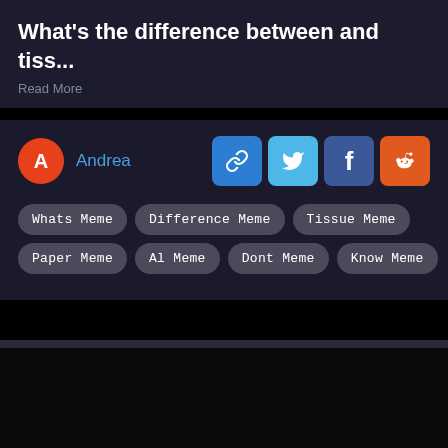What's the difference between and tiss...
Read More
Andrea
Whats Meme
Difference Meme
Tissue Meme
Paper Meme
Al Meme
Dont Meme
Know Meme